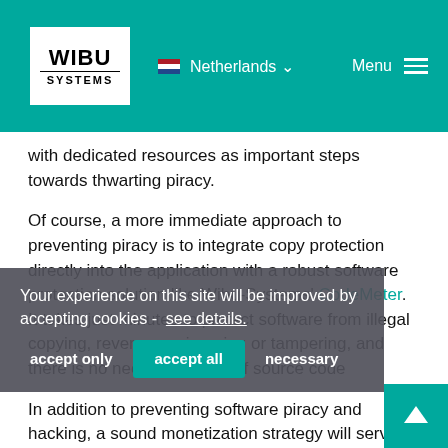WIBU SYSTEMS | Netherlands | Menu
with dedicated resources as important steps towards thwarting piracy.
Of course, a more immediate approach to preventing piracy is to integrate copy protection directly into the application with a robust software protection solution like Wibu-Systems' CodeMeter. It takes just minutes to protect software from illegal copying, reverse engineering or tampering, and there is no need to provide of source code
Your experience on this site will be improved by accepting cookies - see details.
In addition to preventing software piracy and hacking, a sound monetization strategy will serve to maximize ISV revenues. With secure, flexible licensing capabilities, ISVs and device manufacturers can effectively implement creative licensing strategies to meet the changing